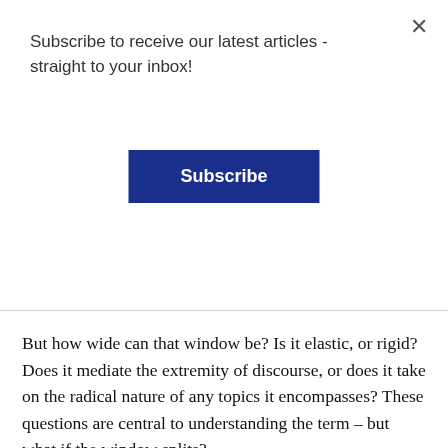Subscribe to receive our latest articles - straight to your inbox!
Subscribe
But how wide can that window be? Is it elastic, or rigid? Does it mediate the extremity of discourse, or does it take on the radical nature of any topics it encompasses? These questions are central to understanding the term – but what if the window splits?
One of the most influential theories of politics in the late 20th century (and influenced Mouffe, whom I discussed above) came from Carl Schmitt, a German conservative thinker who believed politics was essentially defined by the “friend-enemy relation”. Schmitt was careful to stress that there is no fundamental definition behind “friend” or “enemy” – that each term was entirely relative to the